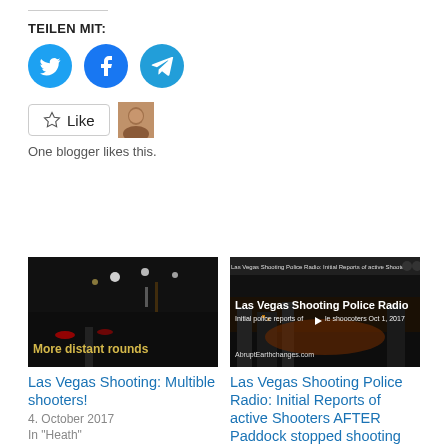TEILEN MIT:
[Figure (infographic): Three social media share buttons: Twitter (blue bird), Facebook (blue f), Telegram (blue paper plane)]
[Figure (infographic): Like button with star icon labeled 'Like' and a small avatar photo of a woman]
One blogger likes this.
[Figure (screenshot): Dark nighttime street scene thumbnail with text 'More distant rounds' in yellow]
Las Vegas Shooting: Multible shooters!
4. October 2017
In "Heath"
[Figure (screenshot): Dark nighttime city scene thumbnail with text 'Las Vegas Shooting Police Radio' and 'Initial police reports of multiple shooters Oct 1, 2017' and 'AbruptEarthchanges.com']
Las Vegas Shooting Police Radio: Initial Reports of active Shooters AFTER Paddock stopped shooting